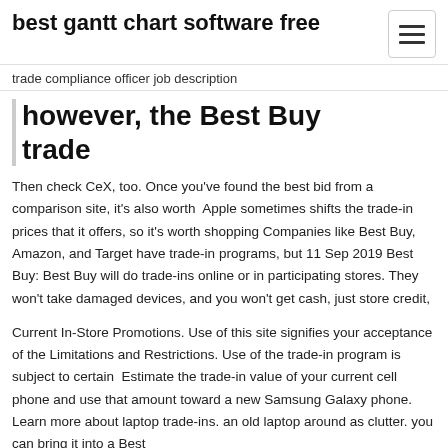best gantt chart software free
trade compliance officer job description
however, the Best Buy trade
Then check CeX, too. Once you've found the best bid from a comparison site, it's also worth  Apple sometimes shifts the trade-in prices that it offers, so it's worth shopping Companies like Best Buy, Amazon, and Target have trade-in programs, but 11 Sep 2019 Best Buy: Best Buy will do trade-ins online or in participating stores. They won't take damaged devices, and you won't get cash, just store credit,
Current In-Store Promotions. Use of this site signifies your acceptance of the Limitations and Restrictions. Use of the trade-in program is subject to certain  Estimate the trade-in value of your current cell phone and use that amount toward a new Samsung Galaxy phone. Learn more about laptop trade-ins. an old laptop around as clutter. you can bring it into a Best